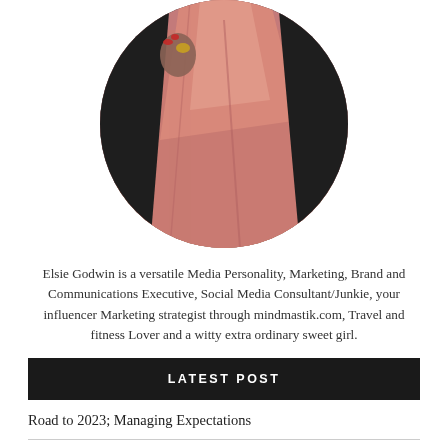[Figure (photo): Circular cropped photo of a person wearing a pink dress, partially visible with a hand showing red nails and a ring, against a dark background.]
Elsie Godwin is a versatile Media Personality, Marketing, Brand and Communications Executive, Social Media Consultant/Junkie, your influencer Marketing strategist through mindmastik.com, Travel and fitness Lover and a witty extra ordinary sweet girl.
LATEST POST
Road to 2023; Managing Expectations
Our Capacity to Vote